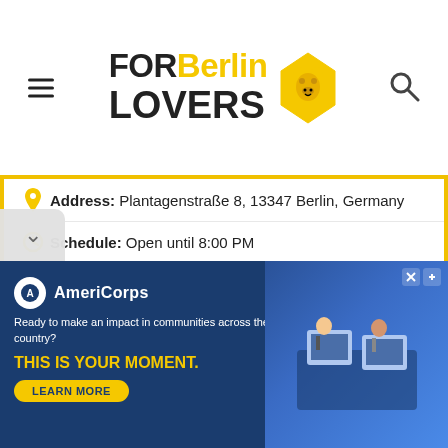FOR Berlin LOVERS
Address: Plantagenstraße 8, 13347 Berlin, Germany
Schedule: Open until 8:00 PM
Telephone: +49 176 79029929
Guy: Piano instructor
Web page: http://de.marktaratushkin.com/klavierunterricht-berlin/
There are no offers available.
Near Klavierunterricht in Berlin - Mark Taratushkin:
a 55 meters away weddings among vineyards en: silent
[Figure (screenshot): AmeriCorps advertisement banner: Ready to make an impact in communities across the country? THIS IS YOUR MOMENT. LEARN MORE]